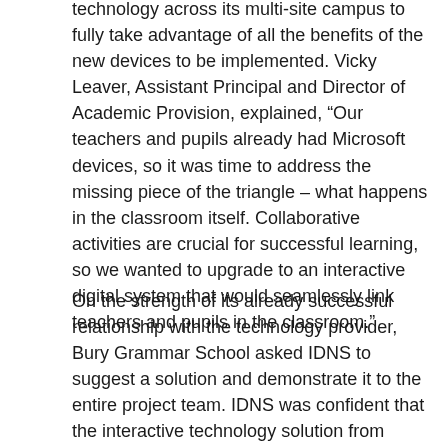technology across its multi-site campus to fully take advantage of all the benefits of the new devices to be implemented. Vicky Leaver, Assistant Principal and Director of Academic Provision, explained, “Our teachers and pupils already had Microsoft devices, so it was time to address the missing piece of the triangle – what happens in the classroom itself. Collaborative activities are crucial for successful learning, so we wanted to upgrade to an interactive digital system that would seamlessly link teachers and pupils in the classroom.”
On the strength of its already successful relationship with the technology provider, Bury Grammar School asked IDNS to suggest a solution and demonstrate it to the entire project team. IDNS was confident that the interactive technology solution from Clevertouch Technologies would meet each of the school group’s needs. The staff at Bury Grammar School were quickly and completely won over by the Clevertouch solution product. Leaver explained, “There wasn’t just buy-in among our academic leads and teaching staff; there was